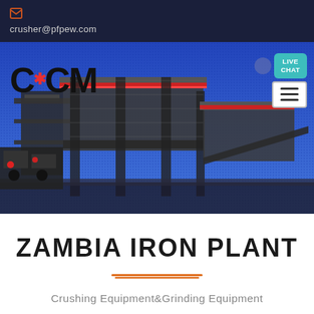crusher@pfpew.com
[Figure (photo): Industrial iron plant / crushing equipment facility photo with blue sky background, CCM logo overlaid on left, Live Chat button and hamburger menu on top right]
ZAMBIA IRON PLANT
Crushing Equipment&Grinding Equipment